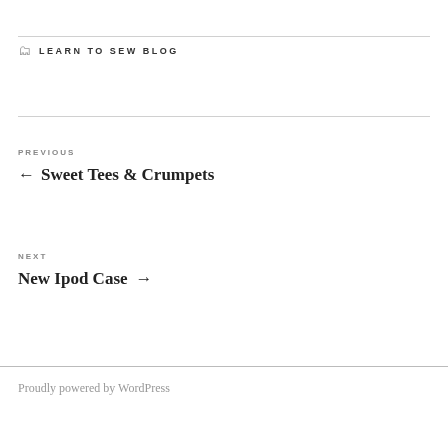LEARN TO SEW BLOG
PREVIOUS
← Sweet Tees & Crumpets
NEXT
New Ipod Case →
Proudly powered by WordPress